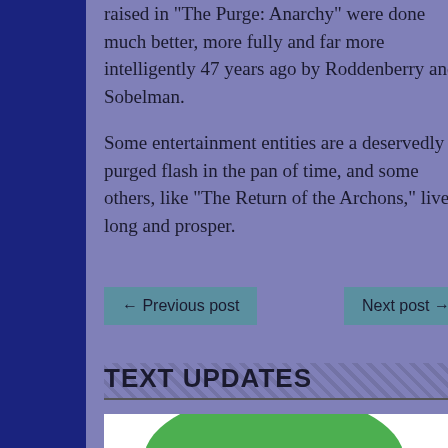raised in “The Purge: Anarchy” were done much better, more fully and far more intelligently 47 years ago by Roddenberry and Sobelman.
Some entertainment entities are a deservedly purged flash in the pan of time, and some others, like “The Return of the Archons,” live long and prosper.
← Previous post    Next post →
TEXT UPDATES
[Figure (photo): Thumbnail image showing a green rounded shape (pill/blob) on white background, partially cropped]